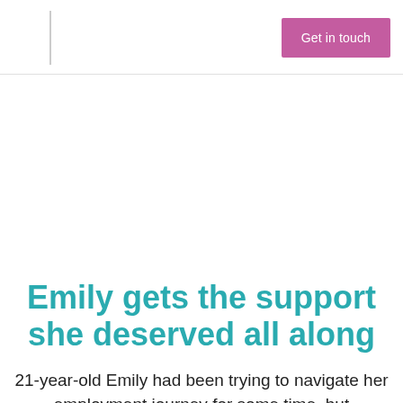Get in touch
Youth
Emily gets the support she deserved all along
21-year-old Emily had been trying to navigate her employment journey for some time, but